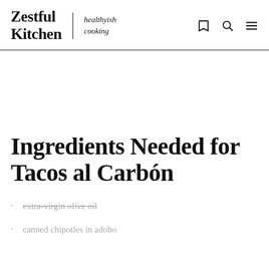Zestful Kitchen | healthyish cooking
Ingredients Needed for Tacos al Carbón
extra-virgin olive oil
canned chipotles in adobo